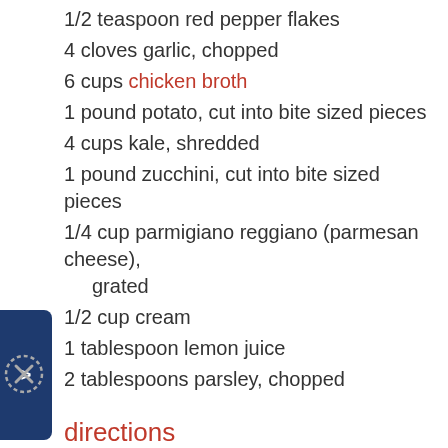1/2 teaspoon red pepper flakes
4 cloves garlic, chopped
6 cups chicken broth
1 pound potato, cut into bite sized pieces
4 cups kale, shredded
1 pound zucchini, cut into bite sized pieces
1/4 cup parmigiano reggiano (parmesan cheese), grated
1/2 cup cream
1 tablespoon lemon juice
2 tablespoons parsley, chopped
directions
1. Cook the bacon in a large saucepan before setting it aside on paper towels to drain while reserving the bacon grease in the pan.
2. Cook the sausage in the same pan, breaking it apart into bite sized pieces as it cooks, before